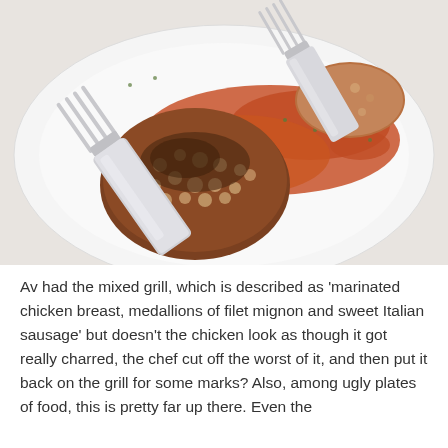[Figure (photo): Close-up photo of a breaded meatball or chicken patty with tomato sauce on a white plate, with a fork resting on it.]
Av had the mixed grill, which is described as 'marinated chicken breast, medallions of filet mignon and sweet Italian sausage' but doesn't the chicken look as though it got really charred, the chef cut off the worst of it, and then put it back on the grill for some marks? Also, among ugly plates of food, this is pretty far up there. Even the